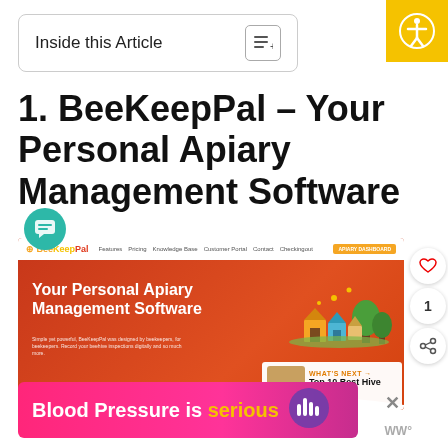Inside this Article
1. BeeKeepPal – Your Personal Apiary Management Software
[Figure (screenshot): Screenshot of BeeKeepPal website showing navigation bar with logo, menu items (Features, Pricing, Knowledge Base, Customer Portal, Contact, Checkingout, APIARY DASHBOARD button), and homepage hero section with 'Your Personal Apiary Management Software' headline on red/orange background with illustrated beehive graphic]
Blood Pressure is serious